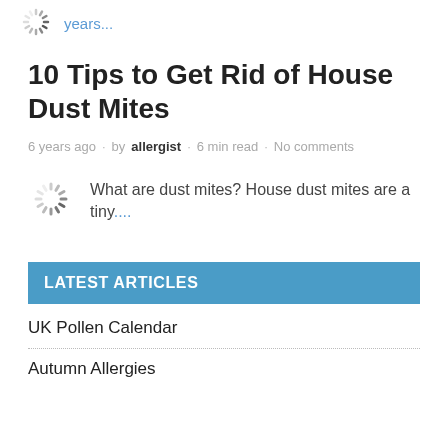[Figure (other): Loading spinner icon with partial text 'years...' in blue]
10 Tips to Get Rid of House Dust Mites
6 years ago · by allergist · 6 min read · No comments
[Figure (other): Loading spinner icon next to article preview text]
What are dust mites? House dust mites are a tiny....
LATEST ARTICLES
UK Pollen Calendar
Autumn Allergies